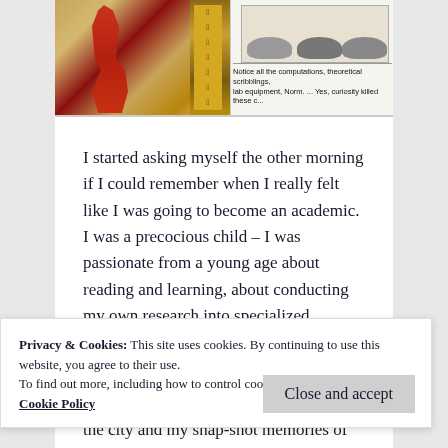[Figure (illustration): Two images side by side: left shows an Egyptian mural with a red-robed figure and hieroglyphics; right shows a cartoon of cats with caption text reading 'Notice all the computations, theoretical scribblings, lab equipment, Norm. ... Yes, curiosity killed these c...']
I started asking myself the other morning if I could remember when I really felt like I was going to become an academic. I was a precocious child – I was passionate from a young age about reading and learning, about conducting my own research into specialized subjects that interested me. But I found myself thinking just now about when exactly the point of no return might have been.
Privacy & Cookies: This site uses cookies. By continuing to use this website, you agree to their use.
To find out more, including how to control cookies, see here:
Cookie Policy
the city and my snap-shot memories of it. It is a